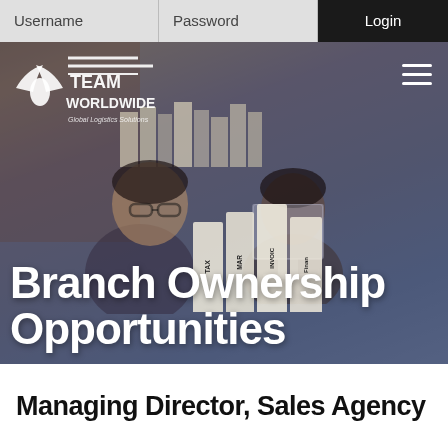Username  Password  Login
[Figure (screenshot): Hero image of an office scene with two people smiling at a desk with binders labeled TAX, MAR, INVOIC, Finance. A dark blue-grey overlay covers the photo. Team Worldwide Global Logistics Solutions logo appears top left. Hamburger menu icon top right.]
Branch Ownership Opportunities
Managing Director, Sales Agency